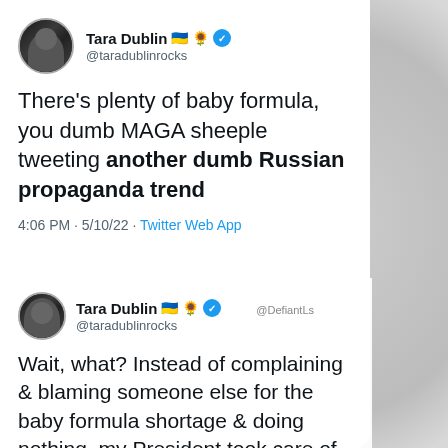[Figure (screenshot): Screenshot of two tweets by Tara Dublin (@taradublinrocks). First tweet says: 'There's plenty of baby formula, you dumb MAGA sheeple tweeting another dumb Russian propaganda trend' posted at 4:06 PM · 5/10/22 · Twitter Web App. Second tweet (reply) says: 'Wait, what? Instead of complaining & blaming someone else for the baby formula shortage & doing nothing, my President took care of it? And he made'. Background shows a grayscale photo of a smiling woman.]